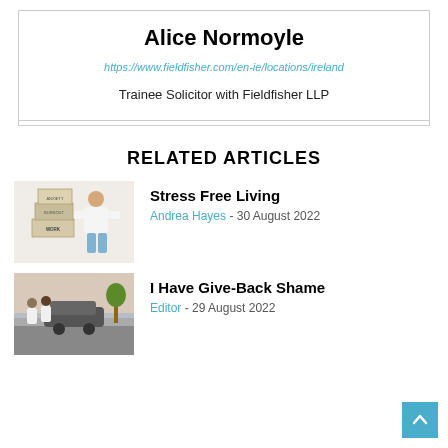Alice Normoyle
https://www.fieldfisher.com/en-ie/locations/ireland
Trainee Solicitor with Fieldfisher LLP
RELATED ARTICLES
[Figure (photo): Person stacking boxes labeled WORK, BURNOUT, ANXIETY]
Stress Free Living
Andrea Hayes - 30 August 2022
[Figure (photo): People in white shirts working near a car on a street]
I Have Give-Back Shame
Editor - 29 August 2022